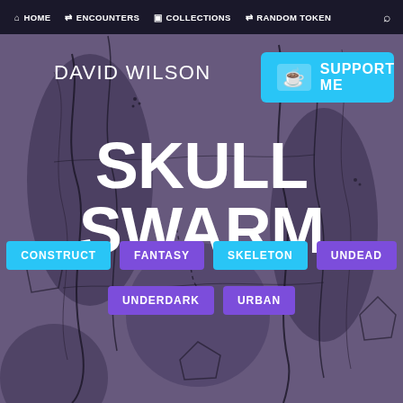[Figure (illustration): Fantasy map background with dark purple/blue tones and abstract terrain lines forming a dungeon or cave map pattern]
HOME  ENCOUNTERS  COLLECTIONS  RANDOM TOKEN
DAVID WILSON
SUPPORT ME
SKULL SWARM
CONSTRUCT
FANTASY
SKELETON
UNDEAD
UNDERDARK
URBAN